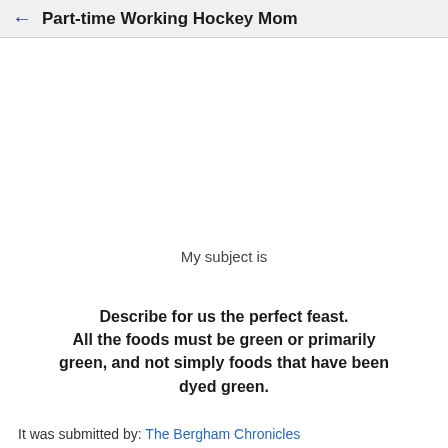← Part-time Working Hockey Mom
My subject is
Describe for us the perfect feast. All the foods must be green or primarily green, and not simply foods that have been dyed green.
It was submitted by: The Bergham Chronicles